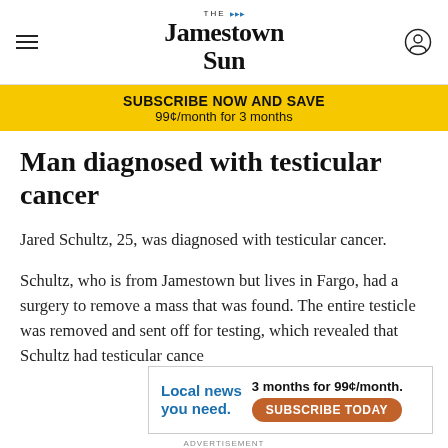THE Jamestown Sun
SUBSCRIBE NOW AND SAVE
99¢/month for 3 months
Man diagnosed with testicular cancer
Jared Schultz, 25, was diagnosed with testicular cancer.
Schultz, who is from Jamestown but lives in Fargo, had a surgery to remove a mass that was found. The entire testicle was removed and sent off for testing, which revealed that Schultz had testicular cance
Local news you need.  3 months for 99¢/month.  SUBSCRIBE TODAY